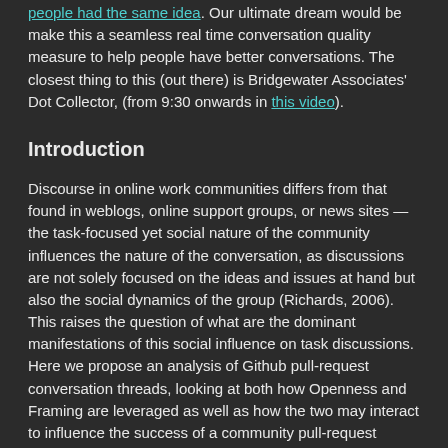people had the same idea. Our ultimate dream would be make this a seamless real time conversation quality measure to help people have better conversations. The closest thing to this (out there) is Bridgewater Associates' Dot Collector, (from 9:30 onwards in this video).
Introduction
Discourse in online work communities differs from that found in weblogs, online support groups, or news sites — the task-focused yet social nature of the community influences the nature of the conversation, as discussions are not solely focused on the ideas and issues at hand but also the social dynamics of the group (Richards, 2006). This raises the question of what are the dominant manifestations of this social influence on task discussions. Here we propose an analysis of Github pull-request conversation threads, looking at both how Openness and Framing are leveraged as well as how the two may interact to influence the success of a community pull-request contribution.
Looking at the data through the perspective of Openness, we